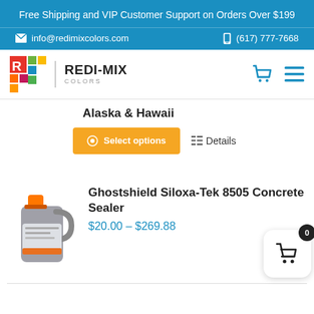Free Shipping and VIP Customer Support on Orders Over $199
info@redimixcolors.com   (617) 777-7668
[Figure (logo): Redi-Mix Colors logo with colorful grid squares and bold brand name]
Alaska & Hawaii
Select options   Details
[Figure (photo): Ghostshield Siloxa-Tek 8505 Concrete Sealer product container (gray jug with orange cap)]
Ghostshield Siloxa-Tek 8505 Concrete Sealer
$20.00 – $269.88